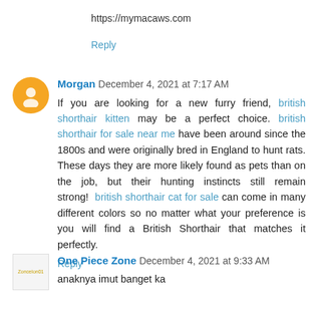https://mymacaws.com
Reply
Morgan  December 4, 2021 at 7:17 AM
If you are looking for a new furry friend, british shorthair kitten may be a perfect choice. british shorthair for sale near me have been around since the 1800s and were originally bred in England to hunt rats. These days they are more likely found as pets than on the job, but their hunting instincts still remain strong!  british shorthair cat for sale can come in many different colors so no matter what your preference is you will find a British Shorthair that matches it perfectly.
Reply
One Piece Zone  December 4, 2021 at 9:33 AM
anaknya imut banget ka